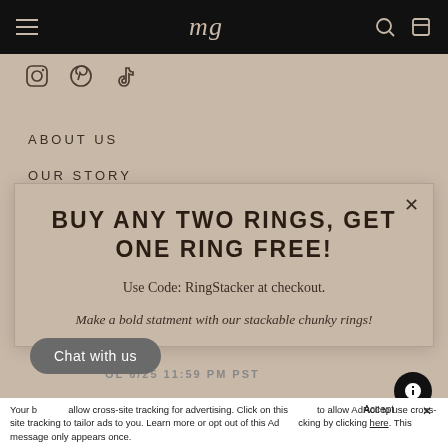mg (logo navigation bar)
[Figure (logo): Social media icons row: Instagram, Pinterest, TikTok]
ABOUT US
OUR STORY
BUY ANY TWO RINGS, GET ONE RING FREE!
Use Code: RingStacker at checkout.
Make a bold statment with our stackable chunky rings!
Your [browser] allow cross-site tracking for advertising. Click on this [button] to allow AdRoll to use cross-site tracking to tailor ads to you. Learn more or opt out of this AdRoll tracking by clicking here. This message only appears once.